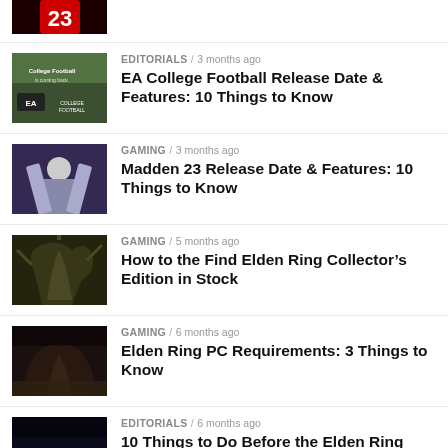[Figure (photo): Partial view of a video game image (top cropped), showing a red and dark graphic]
EDITORIALS / 3 months ago — EA College Football Release Date & Features: 10 Things to Know
[Figure (photo): College Football is coming back - EA College Football promo image with crowd in background]
GAMING / 3 months ago — Madden 23 Release Date & Features: 10 Things to Know
[Figure (photo): Madden 23 game screenshot showing a football player]
GAMING / 5 months ago — How to the Find Elden Ring Collector's Edition in Stock
[Figure (photo): Elden Ring creature/monster screenshot]
GAMING / 6 months ago — Elden Ring PC Requirements: 3 Things to Know
[Figure (photo): Elden Ring dark creature screenshot]
EDITORIALS / 6 months ago — 10 Things to Do Before the Elden Ring
[Figure (photo): Dark screenshot, partial view at bottom]